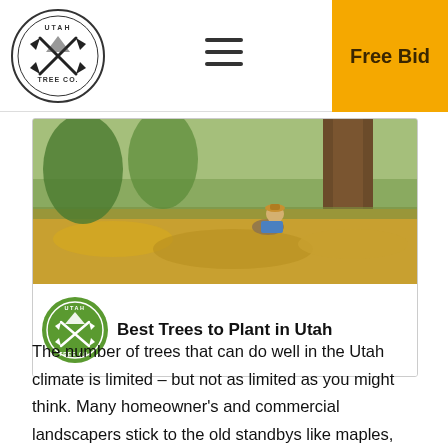[Figure (logo): Utah Tree Co. logo — circular badge with two crossed axes and mountain silhouette, black and white]
[Figure (illustration): Three horizontal hamburger menu lines]
Free Bid
[Figure (photo): Blog post header image: child reading under a large tree in a field of yellow/orange fallen leaves; green trees in background. Utah Tree Co. green logo overlaid at lower left. Title reads: Best Trees to Plant in Utah]
Best Trees to Plant in Utah
The number of trees that can do well in the Utah climate is limited – but not as limited as you might think. Many homeowner's and commercial landscapers stick to the old standbys like maples, willows and cottonwoods because they want trees that will survive. But there are other species that will